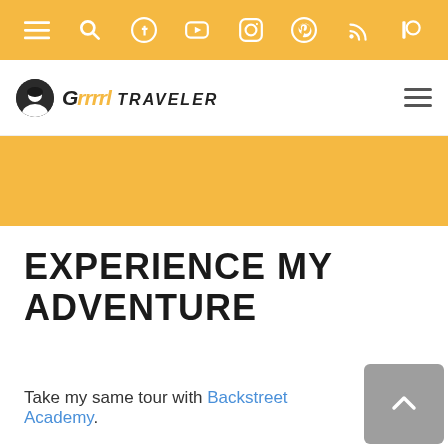Top navigation bar with menu, search, Facebook, YouTube, Instagram, Pinterest, RSS, Patreon icons
[Figure (logo): Grrrrl Traveler logo with avatar and hamburger menu]
[Figure (illustration): Orange banner / header background]
EXPERIENCE MY ADVENTURE
Take my same tour with Backstreet Academy.